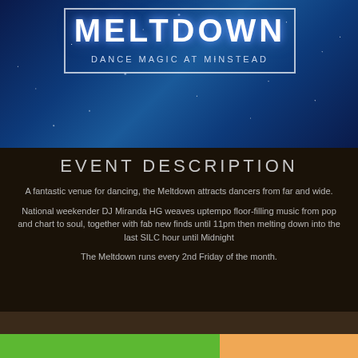[Figure (illustration): Dark blue starry night sky background with glowing star clusters, containing a white-bordered box with 'MELTDOWN' title in large white letters and subtitle 'DANCE MAGIC AT MINSTEAD' in spaced uppercase letters]
EVENT DESCRIPTION
A fantastic venue for dancing, the Meltdown attracts dancers from far and wide.
National weekender DJ Miranda HG weaves uptempo floor-filling music from pop and chart to soul, together with fab new finds until 11pm then melting down into the last SILC hour until Midnight
The Meltdown runs every 2nd Friday of the month.
[Figure (photo): Dark photo strip with green and orange colored blocks at the bottom representing image placeholders]